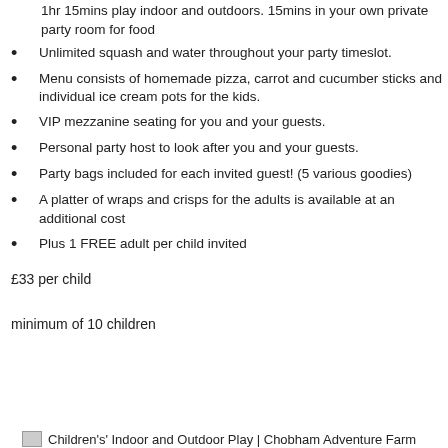1hr 15mins play indoor and outdoors. 15mins in your own private party room for food
Unlimited squash and water throughout your party timeslot.
Menu consists of homemade pizza, carrot and cucumber sticks and individual ice cream pots for the kids.
VIP mezzanine seating for you and your guests.
Personal party host to look after you and your guests.
Party bags included for each invited guest! (5 various goodies)
A platter of wraps and crisps for the adults is available at an additional cost
Plus 1 FREE adult per child invited
£33 per child
minimum of 10 children
Children's' Indoor and Outdoor Play | Chobham Adventure Farm